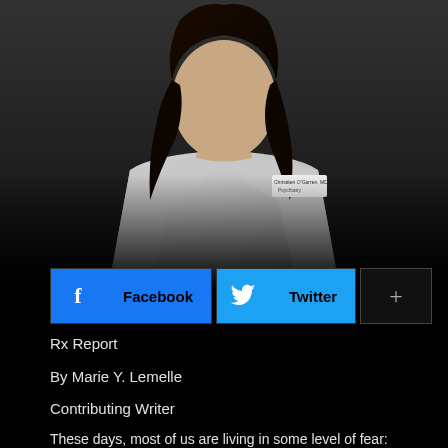[Figure (photo): A doctor in a white lab coat with name badge, photographed from chest up with dark background]
Facebook
Twitter
+
Rx Report
By Marie Y. Lemelle
Contributing Writer
These days, most of us are living in some level of fear: COVID-19 infection, self-isolation, homelessness, incarceration; lack or the expense of health services; and